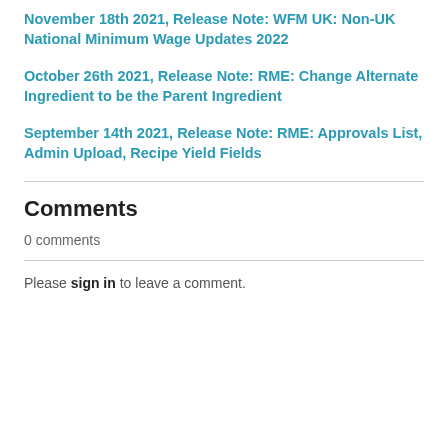November 18th 2021, Release Note: WFM UK: Non-UK National Minimum Wage Updates 2022
October 26th 2021, Release Note: RME: Change Alternate Ingredient to be the Parent Ingredient
September 14th 2021, Release Note: RME: Approvals List, Admin Upload, Recipe Yield Fields
Comments
0 comments
Please sign in to leave a comment.